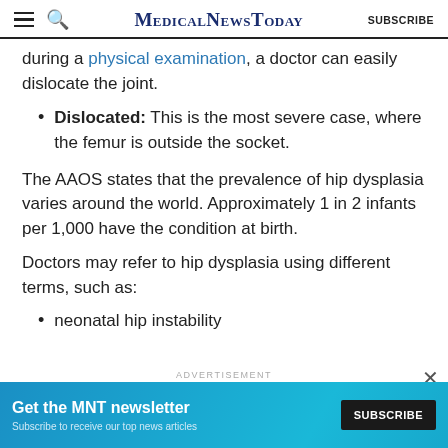MedicalNewsToday SUBSCRIBE
during a physical examination, a doctor can easily dislocate the joint.
Dislocated: This is the most severe case, where the femur is outside the socket.
The AAOS states that the prevalence of hip dysplasia varies around the world. Approximately 1 in 2 infants per 1,000 have the condition at birth.
Doctors may refer to hip dysplasia using different terms, such as:
neonatal hip instability
[Figure (screenshot): Advertisement banner for MNT newsletter: 'Get the MNT newsletter - Subscribe to receive our top news articles' with a SUBSCRIBE button on dark background.]